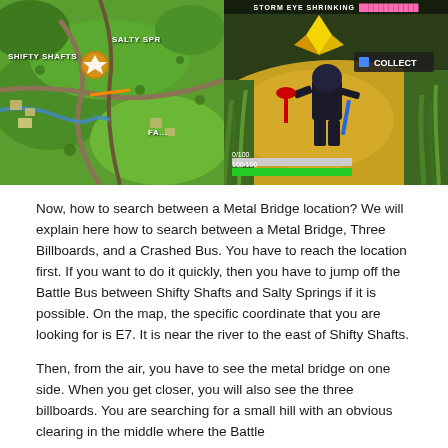[Figure (screenshot): Two side-by-side game screenshots. Left: Fortnite map showing Shifty Shafts and Salty Springs locations with a badge icon. Right: In-game screenshot showing a character near golden collectible with 'COLLECT' prompt, storm eye shrinking UI bar at top, and health bars at bottom.]
Now, how to search between a Metal Bridge location? We will explain here how to search between a Metal Bridge, Three Billboards, and a Crashed Bus. You have to reach the location first. If you want to do it quickly, then you have to jump off the Battle Bus between Shifty Shafts and Salty Springs if it is possible. On the map, the specific coordinate that you are looking for is E7. It is near the river to the east of Shifty Shafts.
Then, from the air, you have to see the metal bridge on one side. When you get closer, you will also see the three billboards. You are searching for a small hill with an obvious clearing in the middle where the Battle